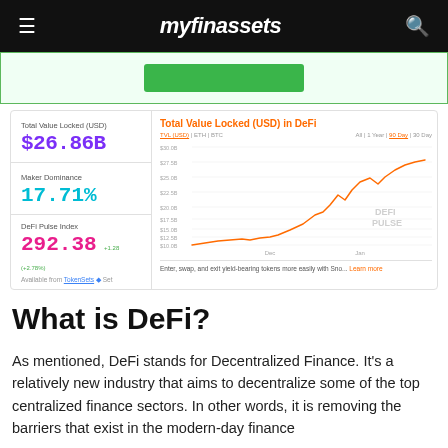myfinassets
[Figure (other): Green promotional banner with a green button]
[Figure (line-chart): Line chart showing Total Value Locked in DeFi rising from ~$10B to ~$26.86B over the displayed period. Stats shown: Total Value Locked $26.86B, Maker Dominance 17.71%, DeFi Pulse Index 292.38]
What is DeFi?
As mentioned, DeFi stands for Decentralized Finance. It’s a relatively new industry that aims to decentralize some of the top centralized finance sectors. In other words, it is removing the barriers that exist in the modern-day finance